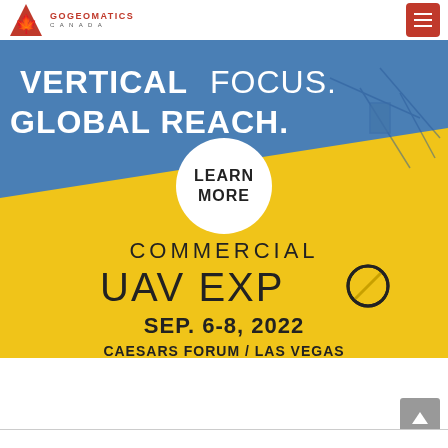GOGEOMATICS CANADA
[Figure (illustration): Commercial UAV Expo advertisement banner. Blue upper half with a drone silhouette and text 'VERTICAL FOCUS. GLOBAL REACH.' A white circle button says 'LEARN MORE'. Yellow lower half with 'COMMERCIAL UAV EXPO' logo, 'SEP. 6-8, 2022' and 'CAESARS FORUM / LAS VEGAS'.]